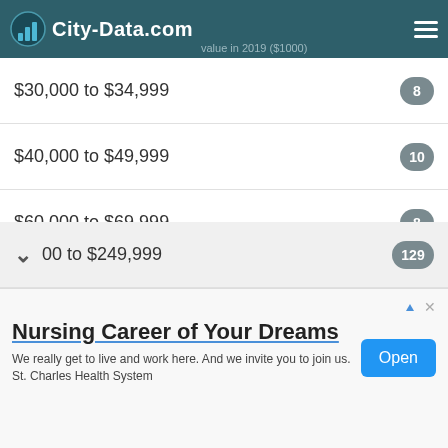City-Data.com
$30,000 to $34,999 — 8
$40,000 to $49,999 — 10
$60,000 to $69,999 — 8
$70,000 to $79,999 — 9
$150,000 to $174,999 — 10
$175,000 to $199,999 — 40
00 to $249,999 — 129
Nursing Career of Your Dreams. We really get to live and work here. And we invite you to join us. St. Charles Health System. Open